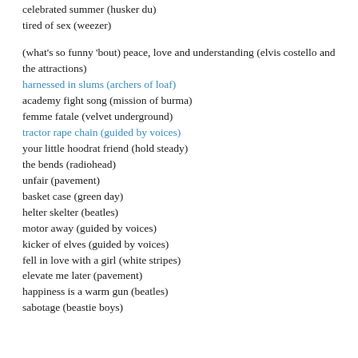psycho killer (talking heads)
celebrated summer (husker du)
tired of sex (weezer)
(what's so funny 'bout) peace, love and understanding (elvis costello and the attractions)
harnessed in slums (archers of loaf)
academy fight song (mission of burma)
femme fatale (velvet underground)
tractor rape chain (guided by voices)
your little hoodrat friend (hold steady)
the bends (radiohead)
unfair (pavement)
basket case (green day)
helter skelter (beatles)
motor away (guided by voices)
kicker of elves (guided by voices)
fell in love with a girl (white stripes)
elevate me later (pavement)
happiness is a warm gun (beatles)
sabotage (beastie boys)